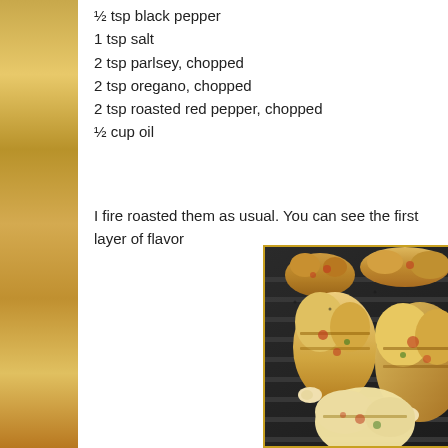½ tsp black pepper
1 tsp salt
2 tsp parlsey, chopped
2 tsp oregano, chopped
2 tsp roasted red pepper, chopped
½ cup oil
I fire roasted them as usual. You can see the first layer of flavor
[Figure (photo): Grilled chicken pieces (drumsticks and wings) on grill grates, seasoned with herbs and roasted red peppers, shown with grill marks and golden-brown coloring]